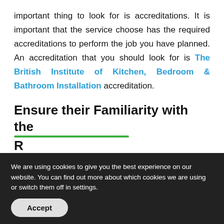important thing to look for is accreditations. It is important that the service choose has the required accreditations to perform the job you have planned. An accreditation that you should look for is The British Institute of Kitchen, Bedroom & Bathroom Installation accreditation.
Ensure their Familiarity with the R
[Figure (other): Google Rating widget showing 5.0 stars with the Google 'G' logo]
Th                          lly, if your bathroom
We are using cookies to give you the best experience on our website. You can find out more about which cookies we are using or switch them off in settings.